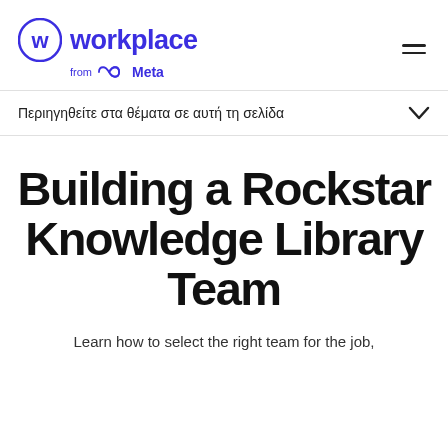workplace from Meta
Περιηγηθείτε στα θέματα σε αυτή τη σελίδα
Building a Rockstar Knowledge Library Team
Learn how to select the right team for the job,